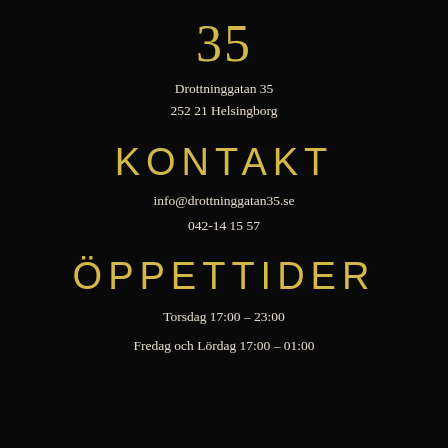35
Drottninggatan 35
252 21 Helsingborg
KONTAKT
info@drottninggatan35.se
042-14 15 57
ÖPPETTIDER
Torsdag 17:00 – 23:00
Fredag och Lördag 17:00 – 01:00